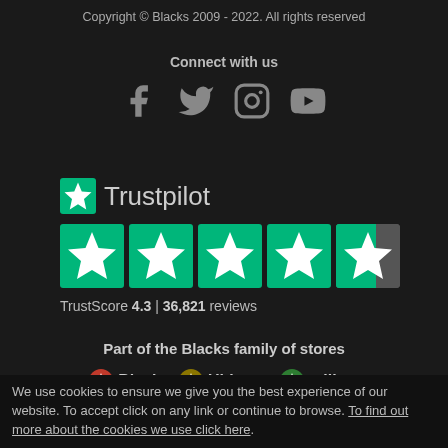Copyright © Blacks 2009 - 2022. All rights reserved
Connect with us
[Figure (infographic): Social media icons: Facebook, Twitter, Instagram, YouTube]
[Figure (logo): Trustpilot logo with green star and text Trustpilot]
[Figure (infographic): Trustpilot 4.3 star rating display - 4 full green stars and 1 partial star]
TrustScore 4.3 | 36,821 reviews
Part of the Blacks family of stores
[Figure (logo): Store logos: Blacks, Ultimate Outdoors, millets]
We use cookies to ensure we give you the best experience of our website. To accept click on any link or continue to browse. To find out more about the cookies we use click here.